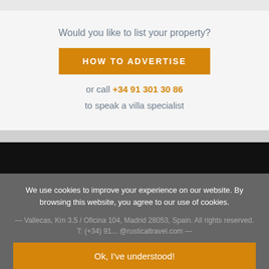Would you like to list your property?
HOW TO ADVERTISE
or call +34 91 301 30 86
to speak a villa specialist
We use cookies to improve your experience on our website. By browsing this website, you agree to our use of cookies.
Vallecas, Km 3.5 / Oficina 104, Madrid 28053, Spain. All rights reserved. T: (+34) 91... @rusticaltravel.com
Ok, I've understood!
Decline
Settings
More Info